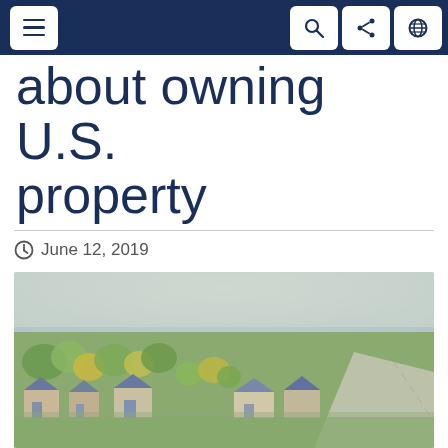Navigation bar with menu, search, share, and globe icons
about owning U.S. property
June 12, 2019
[Figure (photo): Aerial tilt-shift view of a U.S. suburban neighborhood with houses, green trees, and a curving road]